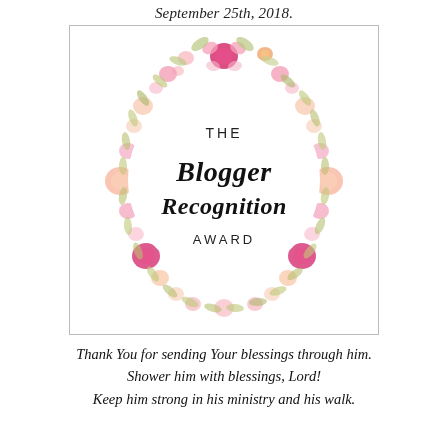September 25th, 2018.
[Figure (illustration): The Blogger Recognition Award badge: a circular floral watercolor wreath in pink, peach, and orange flowers with green leaves, containing the text 'THE Blogger Recognition AWARD' in the center.]
Thank You for sending Your blessings through him.
Shower him with blessings, Lord!
Keep him strong in his ministry and his walk.